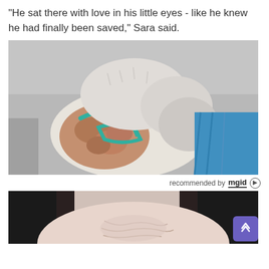"He sat there with love in his little eyes - like he knew he had finally been saved," Sara said.
[Figure (photo): A small dog with patchy skin condition and a teal harness, resting against a grey surface with a blue blanket]
recommended by mgid
[Figure (photo): Close-up of a person's chin and neck area with dark hair framing, with a purple scroll-up button overlay in the bottom right]